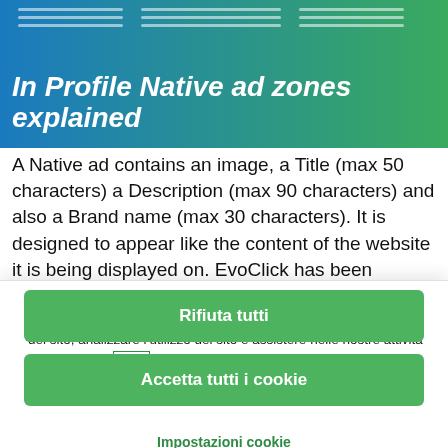In Profile Native ad zones explained
A Native ad contains an image, a Title (max 50 characters) a Description (max 90 characters) and also a Brand name (max 30 characters). It is designed to appear like the content of the website it is being displayed on. EvoClick has been working with
Cliccando su “Accetta tutti i cookie”, l’utente accetta di memorizzare i cookie sul dispositivo per migliorare la navigazione del sito, analizzare l’utilizzo del sito e assistere nelle nostre attività di marketing.  More information
Impostazioni cookie
Rifiuta tutti
Accetta tutti i cookie